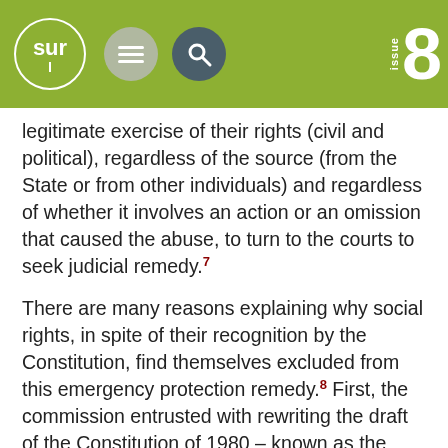sur issue 8
legitimate exercise of their rights (civil and political), regardless of the source (from the State or from other individuals) and regardless of whether it involves an action or an omission that caused the abuse, to turn to the courts to seek judicial remedy.7
There are many reasons explaining why social rights, in spite of their recognition by the Constitution, find themselves excluded from this emergency protection remedy.8 First, the commission entrusted with rewriting the draft of the Constitution of 1980 – known as the Commission for the Study of the New Constitution (CENC) – interpreted social rights according to their most traditional sense, that is, as positive rights. It subscribed to the idea that this was a category of rights contrasting with so-called